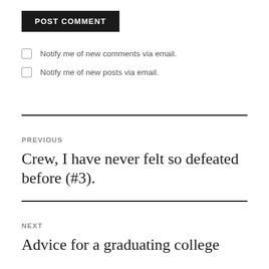POST COMMENT
Notify me of new comments via email.
Notify me of new posts via email.
PREVIOUS
Crew, I have never felt so defeated before (#3).
NEXT
Advice for a graduating college